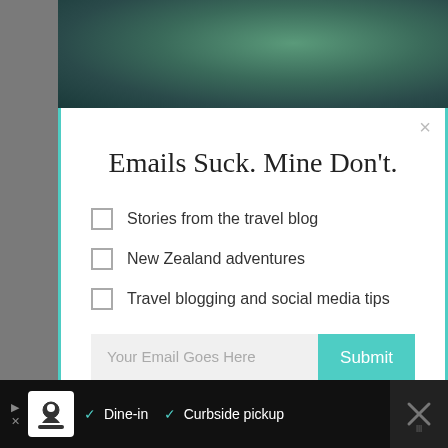[Figure (photo): Top portion of a nature/travel photo with green foliage, partially visible behind modal overlay]
Emails Suck. Mine Don't.
Stories from the travel blog
New Zealand adventures
Travel blogging and social media tips
Your Email Goes Here
Submit
[Figure (photo): Travel/adventure photo showing a person holding a flag with mountain scenery and bright sun in the background]
[Figure (screenshot): Advertisement bar at bottom: logo icon, Dine-in checkmark, Curbside pickup checkmark, navigation arrow icon, close X button]